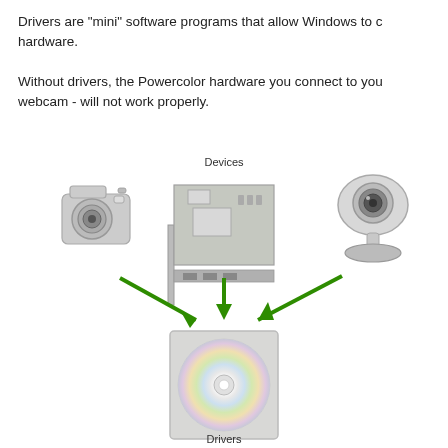Drivers are "mini" software programs that allow Windows to communicate with hardware.
Without drivers, the Powercolor hardware you connect to your computer - such as a webcam - will not work properly.
[Figure (infographic): Diagram showing three devices (digital camera, graphics card, webcam) with green arrows pointing down to a CD/driver disc labeled 'Devices' at top and 'Drivers' below the disc, with another green arrow pointing further down to a computer at the bottom.]